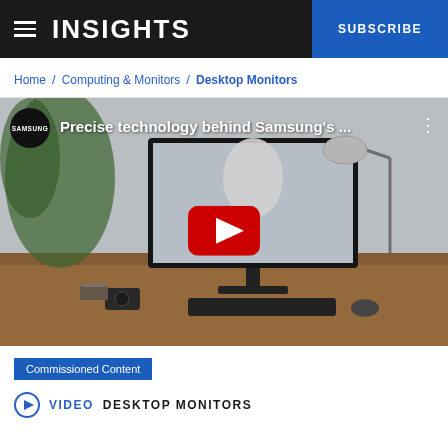INSIGHTS | SUBSCRIBE
Home / Computing & Monitors / Desktop Monitors
[Figure (screenshot): YouTube video thumbnail showing Samsung monitor on a desk with the title 'Precise technology behind Samsung's ...' and a red YouTube play button in the center.]
Commissioned Content
VIDEO  DESKTOP MONITORS